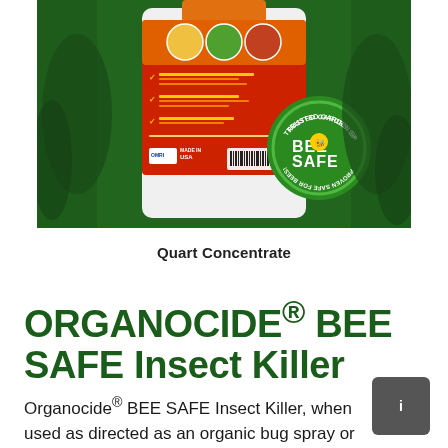[Figure (photo): Product photo of Organocide BEE SAFE Insect Killer quart concentrate bottle on a dark green background. The white bottle has an orange/red label with checkmarks listing uses. A green circular 'Trusted Garden Sprays - BEE SAFE - Proven Safe for Bees' badge is visible on the front.]
Quart Concentrate
ORGANOCIDE® BEE SAFE Insect Killer
Organocide® BEE SAFE Insect Killer, when used as directed as an organic bug spray or soil drench,